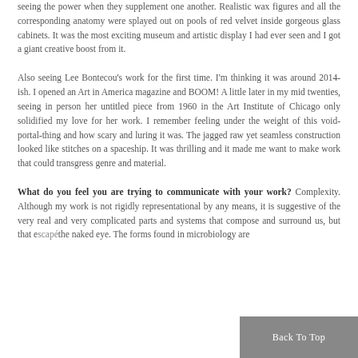seeing the power when they supplement one another. Realistic wax figures and all the corresponding anatomy were splayed out on pools of red velvet inside gorgeous glass cabinets. It was the most exciting museum and artistic display I had ever seen and I got a giant creative boost from it.
Also seeing Lee Bontecou's work for the first time. I'm thinking it was around 2014-ish. I opened an Art in America magazine and BOOM! A little later in my mid twenties, seeing in person her untitled piece from 1960 in the Art Institute of Chicago only solidified my love for her work. I remember feeling under the weight of this void-portal-thing and how scary and luring it was. The jagged raw yet seamless construction looked like stitches on a spaceship. It was thrilling and it made me want to make work that could transgress genre and material.
What do you feel you are trying to communicate with your work? Complexity. Although my work is not rigidly representational by any means, it is suggestive of the very real and very complicated parts and systems that compose and surround us, but that escape the naked eye. The forms found in microbiology are